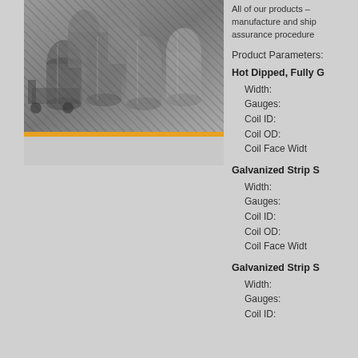[Figure (photo): Black and white photo of industrial barrels/drums stacked in a warehouse or manufacturing facility]
All of our products – manufacture and ship assurance procedure
Product Parameters:
Hot Dipped, Fully G
Width:
Gauges:
Coil ID:
Coil OD:
Coil Face Widt
Galvanized Strip S
Width:
Gauges:
Coil ID:
Coil OD:
Coil Face Widt
Galvanized Strip S
Width:
Gauges:
Coil ID: